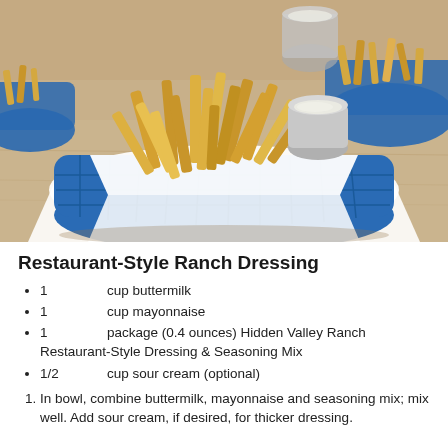[Figure (photo): Photo of french fries served in blue plastic restaurant baskets lined with white paper, with a small metal cup of ranch dipping sauce, on a wooden table surface.]
Restaurant-Style Ranch Dressing
1	cup buttermilk
1	cup mayonnaise
1	package (0.4 ounces) Hidden Valley Ranch Restaurant-Style Dressing & Seasoning Mix
1/2	cup sour cream (optional)
In bowl, combine buttermilk, mayonnaise and seasoning mix; mix well. Add sour cream, if desired, for thicker dressing.